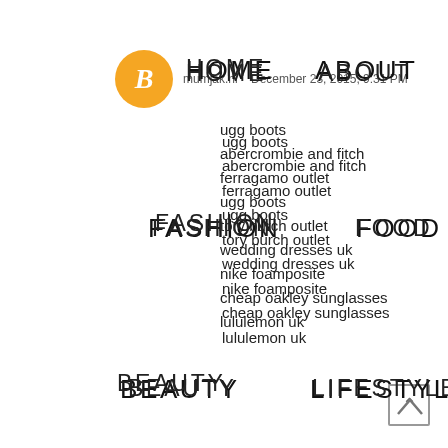[Figure (logo): Blogger orange circle icon with italic B]
mumjak.ni   December 23, 2015, 9:31 PM
HOME   ABOUT   FASHION   FOOD   BEAUTY   LIFESTYLE   CONTACT
ugg boots
abercrombie and fitch
ferragamo outlet
ugg boots
tory burch outlet
wedding dresses uk
nike foamposite
cheap oakley sunglasses
lululemon uk
basketball shoes,basketball sneakers,lebron james shoes,sports shoes,kobe bryant shoes,kobe sneakers,nike basketball shoes,running shoes,mens sport shoes,nike shoes
michael kors uk
michael kors handbags
polo shirts
canada goose outelt
coach outlet store
ray-ban sunglasses
coach outlet store